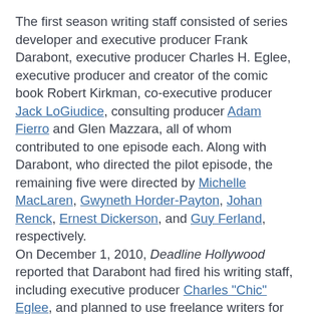The first season writing staff consisted of series developer and executive producer Frank Darabont, executive producer Charles H. Eglee, executive producer and creator of the comic book Robert Kirkman, co-executive producer Jack LoGiudice, consulting producer Adam Fierro and Glen Mazzara, all of whom contributed to one episode each. Along with Darabont, who directed the pilot episode, the remaining five were directed by Michelle MacLaren, Gwyneth Horder-Payton, Johan Renck, Ernest Dickerson, and Guy Ferland, respectively. On December 1, 2010, Deadline Hollywood reported that Darabont had fired his writing staff, including executive producer Charles "Chic" Eglee, and planned to use freelance writers for the second season. Kirkman called the announcement "premature" and clarified that Eglee left to pursue other projects when Darabont decided to stay on as showrunner, and no definitive plans had been made regarding the writing staff for the second season. On December 3, 2010, in an interview with Entertainment Weekly, executive producer Gale Anne Hurd commented: